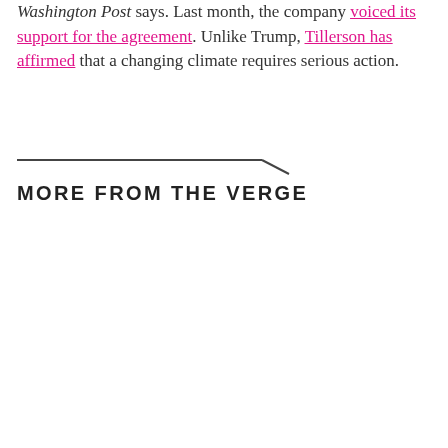Washington Post says. Last month, the company voiced its support for the agreement. Unlike Trump, Tillerson has affirmed that a changing climate requires serious action.
MORE FROM THE VERGE